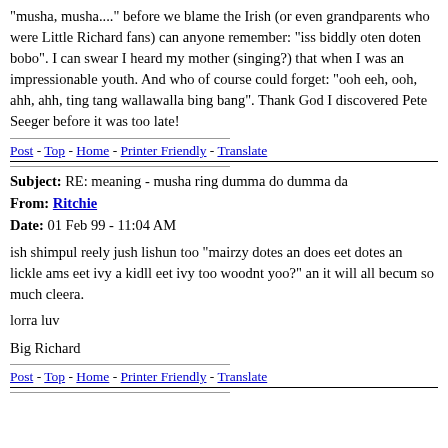"musha, musha...." before we blame the Irish (or even grandparents who were Little Richard fans) can anyone remember: "iss biddly oten doten bobo". I can swear I heard my mother (singing?) that when I was an impressionable youth. And who of course could forget: "ooh eeh, ooh, ahh, ahh, ting tang wallawalla bing bang". Thank God I discovered Pete Seeger before it was too late!
Post - Top - Home - Printer Friendly - Translate
Subject: RE: meaning - musha ring dumma do dumma da
From: Ritchie
Date: 01 Feb 99 - 11:04 AM
ish shimpul reely jush lishun too "mairzy dotes an does eet dotes an lickle ams eet ivy a kidll eet ivy too woodnt yoo?" an it will all becum so much cleera.
lorra luv
Big Richard
Post - Top - Home - Printer Friendly - Translate